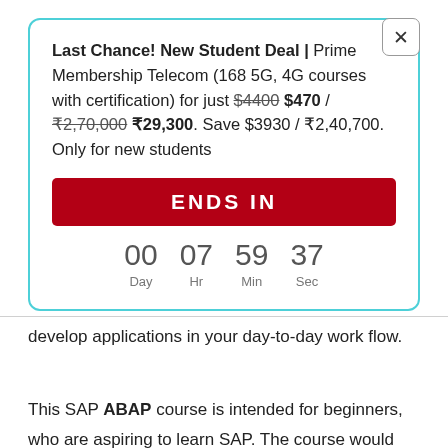Last Chance! New Student Deal | Prime Membership Telecom (168 5G, 4G courses with certification) for just $4400 $470 / ₹2,70,000 ₹29,300. Save $3930 / ₹2,40,700. Only for new students
ENDS IN
00 Day  07 Hr  59 Min  37 Sec
develop applications in your day-to-day work flow.
This SAP ABAP course is intended for beginners, who are aspiring to learn SAP. The course would help you understand the basics of SAP and helps you to